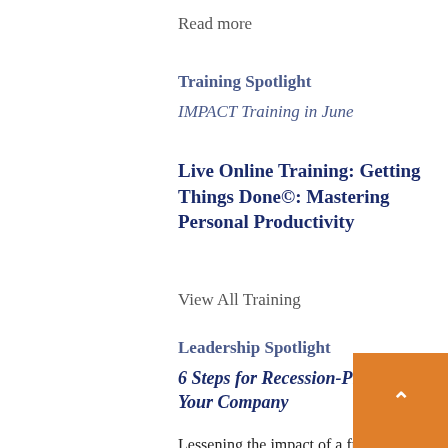Read more
Training Spotlight
IMPACT Training in June
Live Online Training: Getting Things Done©: Mastering Personal Productivity
View All Training
Leadership Spotlight
6 Steps for Recession-Proofing Your Company
Lessening the impact of a future recession on your company depends on planning. A team's ability to prepare in advance by taking steps that lessen the recessionary impact is key for